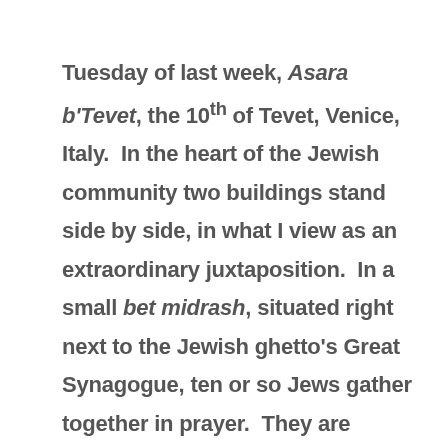Tuesday of last week, Asara b'Tevet, the 10th of Tevet, Venice, Italy. In the heart of the Jewish community two buildings stand side by side, in what I view as an extraordinary juxtaposition. In a small bet midrash, situated right next to the Jewish ghetto's Great Synagogue, ten or so Jews gather together in prayer. They are elderly and are wrapped in prayer shawls and tefillin. Some made their way by boats through the nearby canals, others live close by in the ghetto. I seat myself in the corridor, close to the entrance, because there